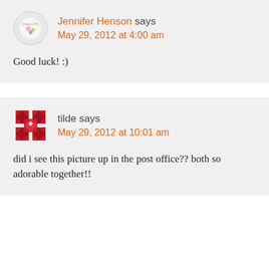Jennifer Henson says
May 29, 2012 at 4:00 am
Good luck! :)
tilde says
May 29, 2012 at 10:01 am
did i see this picture up in the post office?? both so adorable together!!